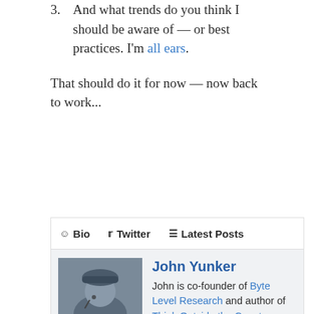And what trends do you think I should be aware of — or best practices. I'm all ears.
That should do it for now — now back to work...
[Figure (other): Author bio box with tabs (Bio, Twitter, Latest Posts), photo of John Yunker, name and description including links to Byte Level Research, Think Outside the Country, and The Web Globalization Report Card.]